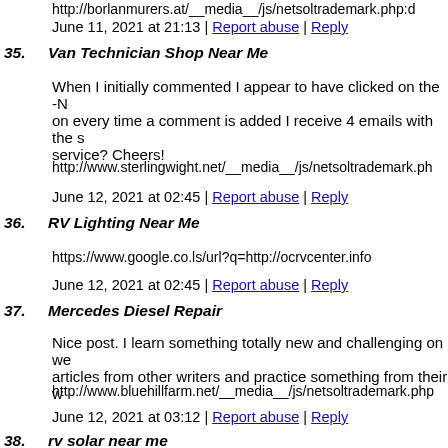http://borlanmurers.at/__media__/js/netsoltrademark.php:d
June 11, 2021 at 21:13 | Report abuse | Reply
35. Van Technician Shop Near Me
When I initially commented I appear to have clicked on the -N on every time a comment is added I receive 4 emails with the s service? Cheers!
http://www.sterlingwight.net/__media__/js/netsoltrademark.ph
June 12, 2021 at 02:45 | Report abuse | Reply
36. RV Lighting Near Me
https://www.google.co.ls/url?q=http://ocrvcenter.info
June 12, 2021 at 02:45 | Report abuse | Reply
37. Mercedes Diesel Repair
Nice post. I learn something totally new and challenging on we articles from other writers and practice something from their w
http://www.bluehillfarm.net/__media__/js/netsoltrademark.php
June 12, 2021 at 03:12 | Report abuse | Reply
38. rv solar near me